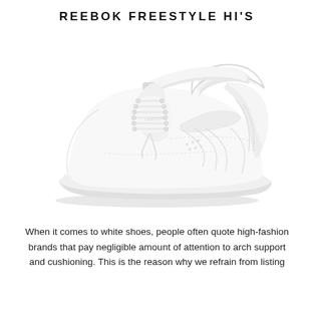REEBOK FREESTYLE HI'S
[Figure (photo): Side view of a white Reebok Freestyle Hi high-top sneaker with velcro ankle strap, white laces, and cushioned collar, shown against a white background.]
When it comes to white shoes, people often quote high-fashion brands that pay negligible amount of attention to arch support and cushioning. This is the reason why we refrain from listing